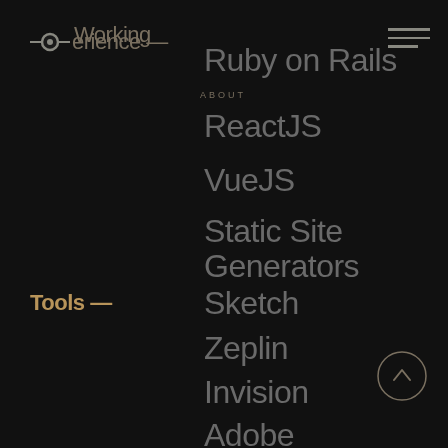Working Experience —
ABOUT
Ruby on Rails
ReactJS
VueJS
Static Site Generators
Tools —
Sketch
Zeplin
Invision
Adobe Creative Suite